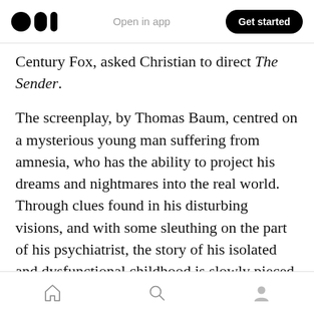Open in app | Get started
Century Fox, asked Christian to direct The Sender.
The screenplay, by Thomas Baum, centred on a mysterious young man suffering from amnesia, who has the ability to project his dreams and nightmares into the real world. Through clues found in his disturbing visions, and with some sleuthing on the part of his psychiatrist, the story of his isolated and dysfunctional childhood is slowly pieced together. There are strong similarities with Brian De Palma's Carrie (1976)
Home | Search | Profile